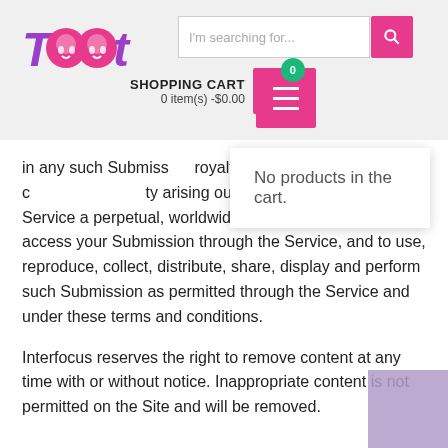[Figure (logo): Toot logo with pink circular icons replacing the two O letters, in purple italic text]
[Figure (screenshot): Search input field with placeholder text 'I'm searching for...' and a pink search button with magnifying glass icon]
[Figure (screenshot): Shopping cart area showing 'SHOPPING CART 0 item(s) -$0.00' with green badge showing 0 and pink cart button, plus pink hamburger menu button]
No products in the cart.
in any such Submiss... royalties, or other c... ty arising out of you m... user of the Service a perpetual, worldwide, non-exclusive license to access your Submission through the Service, and to use, reproduce, collect, distribute, share, display and perform such Submission as permitted through the Service and under these terms and conditions.
Interfocus reserves the right to remove content at any time with or without notice. Inappropriate content is not permitted on the Site and will be removed.